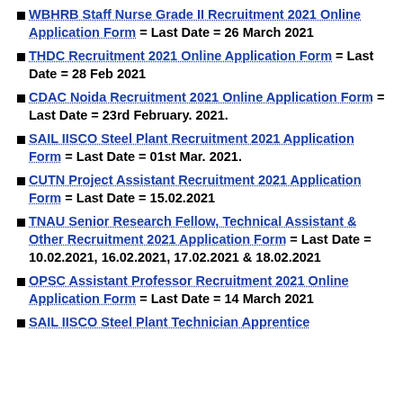WBHRB Staff Nurse Grade II Recruitment 2021 Online Application Form = Last Date = 26 March 2021
THDC Recruitment 2021 Online Application Form = Last Date = 28 Feb 2021
CDAC Noida Recruitment 2021 Online Application Form = Last Date = 23rd February. 2021.
SAIL IISCO Steel Plant Recruitment 2021 Application Form = Last Date = 01st Mar. 2021.
CUTN Project Assistant Recruitment 2021 Application Form = Last Date = 15.02.2021
TNAU Senior Research Fellow, Technical Assistant & Other Recruitment 2021 Application Form = Last Date = 10.02.2021, 16.02.2021, 17.02.2021 & 18.02.2021
OPSC Assistant Professor Recruitment 2021 Online Application Form = Last Date = 14 March 2021
SAIL IISCO Steel Plant Technician Apprentice